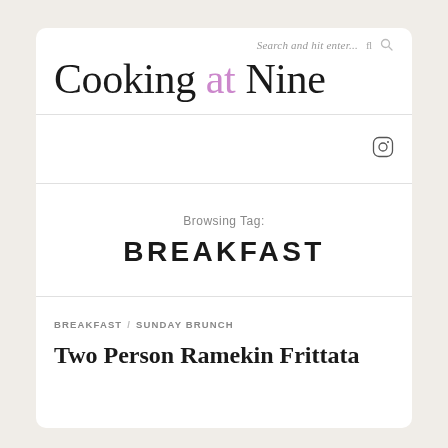Search and hit enter...
Cooking at Nine
[Figure (other): Instagram icon]
Browsing Tag:
BREAKFAST
BREAKFAST / SUNDAY BRUNCH
Two Person Ramekin Frittata